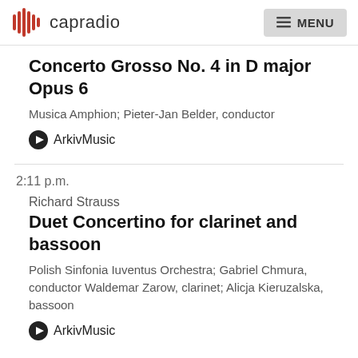capradio   MENU
Concerto Grosso No. 4 in D major Opus 6
Musica Amphion; Pieter-Jan Belder, conductor
ArkivMusic
2:11 p.m.
Richard Strauss
Duet Concertino for clarinet and bassoon
Polish Sinfonia Iuventus Orchestra; Gabriel Chmura, conductor Waldemar Zarow, clarinet; Alicja Kieruzalska, bassoon
ArkivMusic